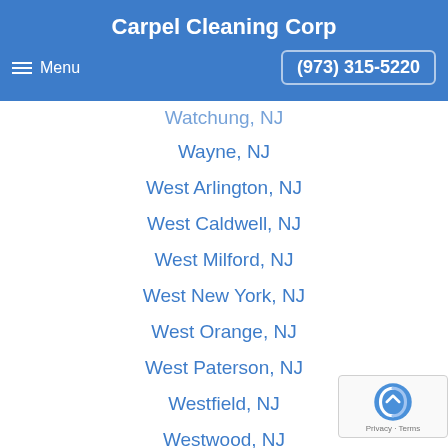Carpel Cleaning Corp
Menu   (973) 315-5220
Watchung, NJ
Wayne, NJ
West Arlington, NJ
West Caldwell, NJ
West Milford, NJ
West New York, NJ
West Orange, NJ
West Paterson, NJ
Westfield, NJ
Westwood, NJ
Wharton, NJ
Whippany, NJ
Wood Ridge, NJ